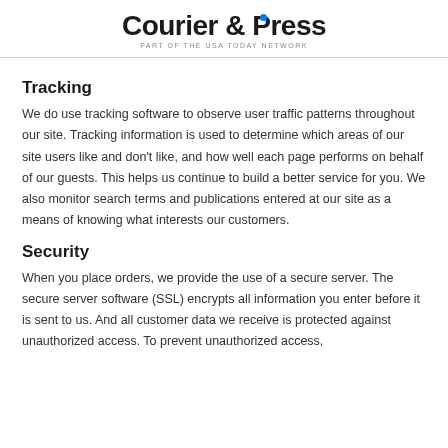Courier & Press
PART OF THE USA TODAY NETWORK
Tracking
We do use tracking software to observe user traffic patterns throughout our site. Tracking information is used to determine which areas of our site users like and don't like, and how well each page performs on behalf of our guests. This helps us continue to build a better service for you. We also monitor search terms and publications entered at our site as a means of knowing what interests our customers.
Security
When you place orders, we provide the use of a secure server. The secure server software (SSL) encrypts all information you enter before it is sent to us. And all customer data we receive is protected against unauthorized access. To prevent unauthorized access,